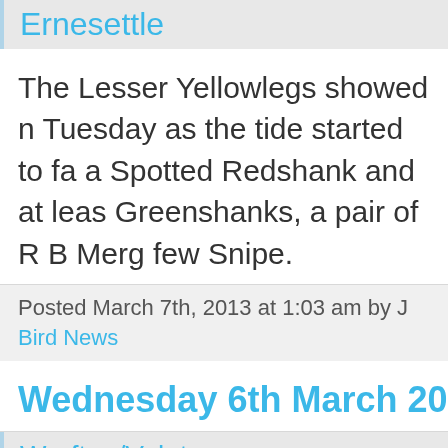Ernesettle
The Lesser Yellowlegs showed n Tuesday as the tide started to fa a Spotted Redshank and at leas Greenshanks, a pair of R B Merg few Snipe.
Posted March 7th, 2013 at 1:03 am by J
Bird News
Wednesday 6th March 20
Wrafton/Velator